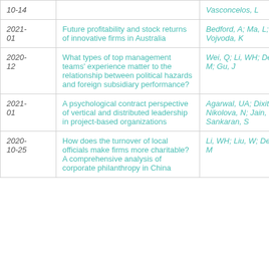| Date | Title | Authors |
| --- | --- | --- |
| 10-14 | [truncated title] | Vasconcelos, L |
| 2021-01 | Future profitability and stock returns of innovative firms in Australia | Bedford, A; Ma, L; Ma, N; Vojvoda, K |
| 2020-12 | What types of top management teams' experience matter to the relationship between political hazards and foreign subsidiary performance? | Wei, Q; Li, WH; De Sisto, M; Gu, J |
| 2021-01 | A psychological contract perspective of vertical and distributed leadership in project-based organizations | Agarwal, UA; Dixit, V; Nikolova, N; Jain, K; Sankaran, S |
| 2020-10-25 | How does the turnover of local officials make firms more charitable? A comprehensive analysis of corporate philanthropy in China | Li, WH; Liu, W; De Sisto, M |